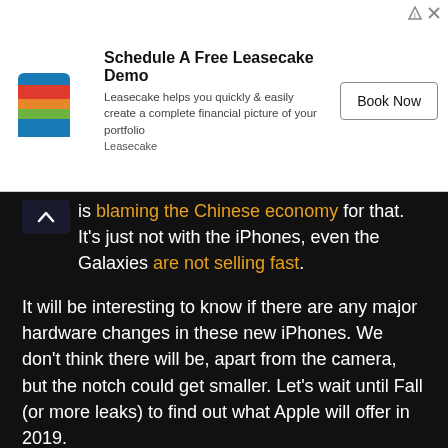[Figure (other): Leasecake advertisement banner with logo, title 'Schedule A Free Leasecake Demo', description text, and 'Book Now' button]
is blaming the Chinese economy for that. It's just not with the iPhones, even the Galaxies are not selling fast.
It will be interesting to know if there are any major hardware changes in these new iPhones. We don't think there will be, apart from the camera, but the notch could get smaller. Let's wait until Fall (or more leaks) to find out what Apple will offer in 2019.
And yes, the Apple AirPower might finally come in 2019!
Keep following for more updates.
Post Views: 1,242